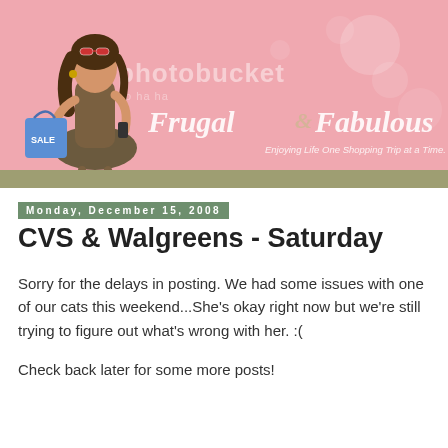[Figure (illustration): Blog banner for 'Frugal & Fabulous - Enjoying Life One Shopping Trip at a Time.' Pink background with illustrated woman holding shopping bags labeled SALE, with Photobucket watermark overlay and cursive blog title text.]
Monday, December 15, 2008
CVS & Walgreens - Saturday
Sorry for the delays in posting. We had some issues with one of our cats this weekend...She's okay right now but we're still trying to figure out what's wrong with her. :(
Check back later for some more posts!